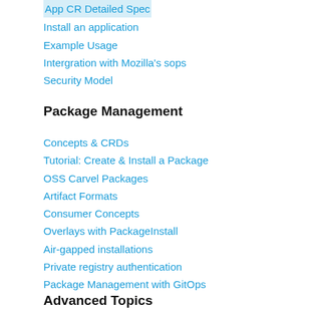App CR Detailed Spec
Install an application
Example Usage
Intergration with Mozilla's sops
Security Model
Package Management
Concepts & CRDs
Tutorial: Create & Install a Package
OSS Carvel Packages
Artifact Formats
Consumer Concepts
Overlays with PackageInstall
Air-gapped installations
Private registry authentication
Package Management with GitOps
Advanced Topics